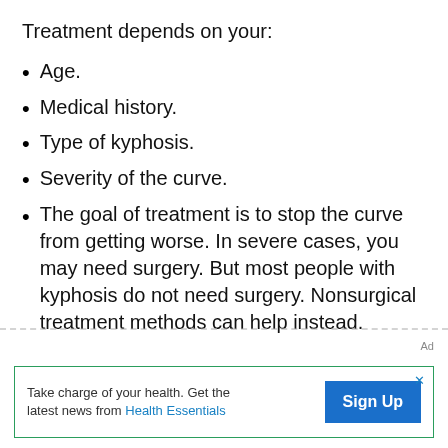Treatment depends on your:
Age.
Medical history.
Type of kyphosis.
Severity of the curve.
The goal of treatment is to stop the curve from getting worse. In severe cases, you may need surgery. But most people with kyphosis do not need surgery. Nonsurgical treatment methods can help instead.
Ad
Take charge of your health. Get the latest news from Health Essentials